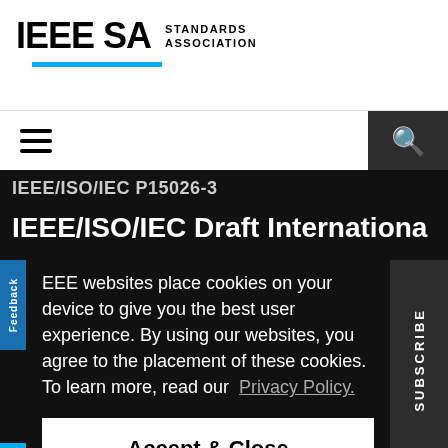IEEE SA STANDARDS ASSOCIATION
IEEE/ISO/IEC P15026-3
IEEE/ISO/IEC Draft Internationa... va...
IEEE websites place cookies on your device to give you the best user experience. By using our websites, you agree to the placement of these cookies. To learn more, read our Privacy Policy.
Accept & Close